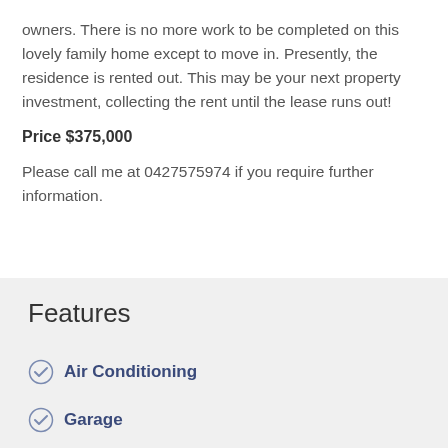owners. There is no more work to be completed on this lovely family home except to move in. Presently, the residence is rented out. This may be your next property investment, collecting the rent until the lease runs out!
Price $375,000
Please call me at 0427575974 if you require further information.
Features
Air Conditioning
Garage